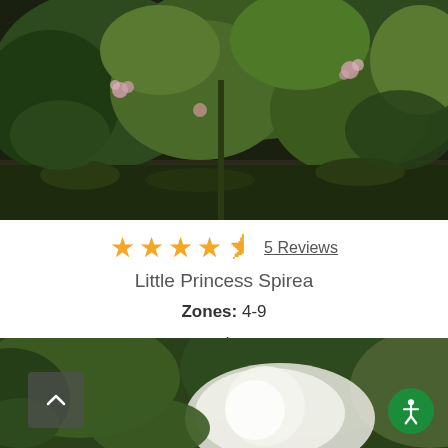[Figure (photo): Photo of Little Princess Spirea bush with green leaves and small pink flowers, dark background]
★★★★½ 5 Reviews
Little Princess Spirea
Zones: 4-9
As low as  $49.69
[Figure (photo): Partial photo of another plant, cut off at bottom of page, with scroll-up button and accessibility icon overlaid]